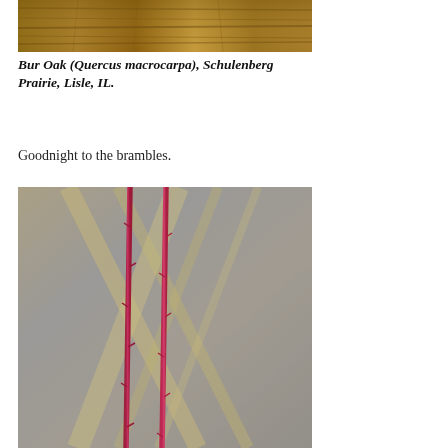[Figure (photo): Close-up photograph of Bur Oak bark texture, showing wood grain pattern in warm brown tones.]
Bur Oak (Quercus macrocarpa), Schulenberg Prairie, Lisle, IL.
Goodnight to the brambles.
[Figure (photo): Photograph of red bramble stems against a blurred background of golden dried grasses, showing thin reddish-pink vertical stems with small thorns or buds.]